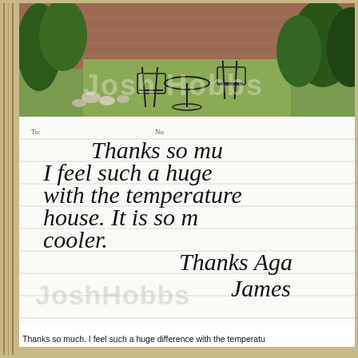[Figure (photo): Photograph of a garden/backyard scene with brick wall, iron patio chairs and table, green grass, and shrubs. A watermark reading 'Josh Hobbs' is overlaid on the photo.]
[Figure (photo): Handwritten note on ruled paper reading: 'Thanks so mu[ch,] I feel such a huge [difference] with the temperature [in the] house. It is so m[uch] cooler. Thanks Aga[in,] James'. A watermark 'JoshHobbs' is overlaid on the note.]
Thanks so much.  I feel such a huge difference with the temperatu[re...